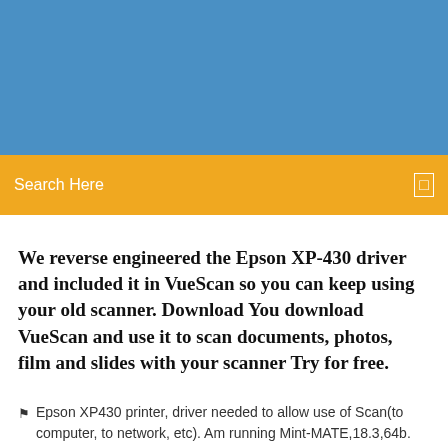[Figure (other): Blue background header banner area]
Search Here
We reverse engineered the Epson XP-430 driver and included it in VueScan so you can keep using your old scanner. Download You download VueScan and use it to scan documents, photos, film and slides with your scanner Try for free.
Epson XP430 printer, driver needed to allow use of Scan(to computer, to network, etc). Am running Mint-MATE,18.3,64b. Mint